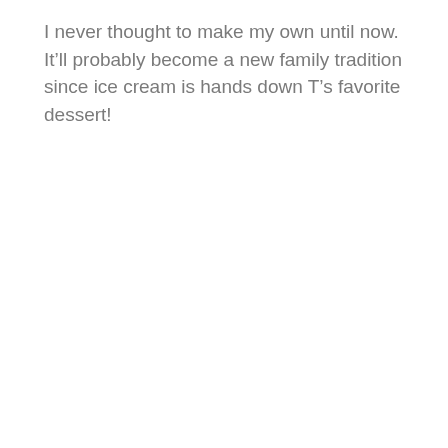I never thought to make my own until now. It'll probably become a new family tradition since ice cream is hands down T's favorite dessert!